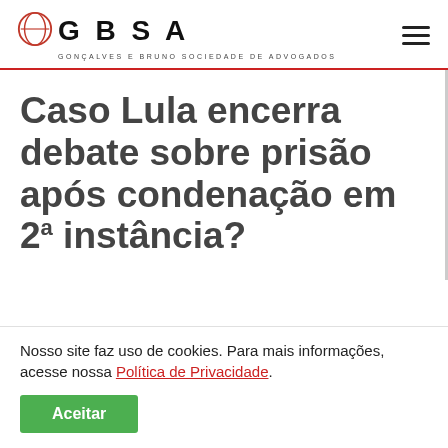GBSA – Gonçalves e Bruno Sociedade de Advogados
Caso Lula encerra debate sobre prisão após condenação em 2ª instância?
Nosso site faz uso de cookies. Para mais informações, acesse nossa Política de Privacidade.
Aceitar